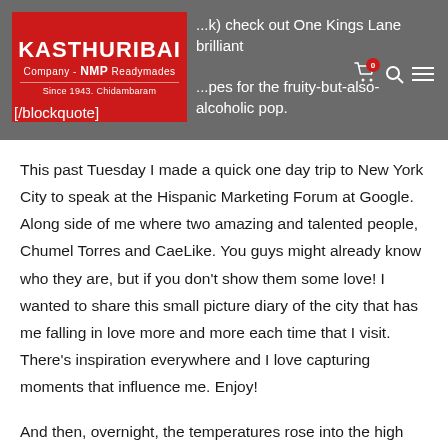KASTHURIBAI Company - NMP Readymades Since 1943. Chidambaram | ...k) check out One Kings Lane brilliant ...pes for the fruity-but-also-alcoholic pop. [/blockquote]
This past Tuesday I made a quick one day trip to New York City to speak at the Hispanic Marketing Forum at Google. Along side of me where two amazing and talented people, Chumel Torres and CaeLike. You guys might already know who they are, but if you don't show them some love! I wanted to share this small picture diary of the city that has me falling in love more and more each time that I visit. There's inspiration everywhere and I love capturing moments that influence me. Enjoy!
And then, overnight, the temperatures rose into the high